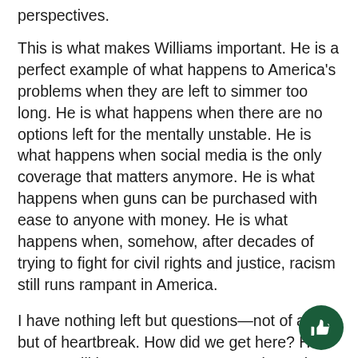perspectives.
This is what makes Williams important. He is a perfect example of what happens to America's problems when they are left to simmer too long. He is what happens when there are no options left for the mentally unstable. He is what happens when social media is the only coverage that matters anymore. He is what happens when guns can be purchased with ease to anyone with money. He is what happens when, somehow, after decades of trying to fight for civil rights and justice, racism still runs rampant in America.
I have nothing left but questions—not of anger, but of heartbreak. How did we get here? How are we still here? How many more times do events like these have to continue before something is done? I have no answers. I only have a hope that Williams is